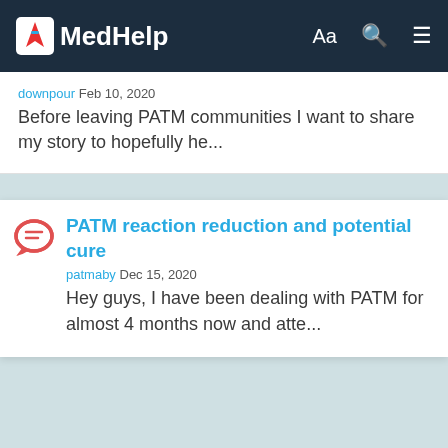MedHelp | Aa | search | menu
downpour Feb 10, 2020
Before leaving PATM communities I want to share my story to hopefully he...
PATM reaction reduction and potential cure
patmaby Dec 15, 2020
Hey guys, I have been dealing with PATM for almost 4 months now and atte...